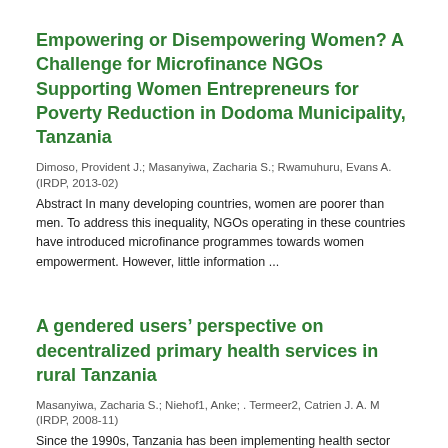Empowering or Disempowering Women? A Challenge for Microfinance NGOs Supporting Women Entrepreneurs for Poverty Reduction in Dodoma Municipality, Tanzania
Dimoso, Provident J.; Masanyiwa, Zacharia S.; Rwamuhuru, Evans A.
(IRDP, 2013-02)
Abstract In many developing countries, women are poorer than men. To address this inequality, NGOs operating in these countries have introduced microfinance programmes towards women empowerment. However, little information ...
A gendered users’ perspective on decentralized primary health services in rural Tanzania
Masanyiwa, Zacharia S.; Niehof1, Anke; . Termeer2, Catrien J. A. M
(IRDP, 2008-11)
Since the 1990s, Tanzania has been implementing health sector reforms including decentralization of primary healthcare services to